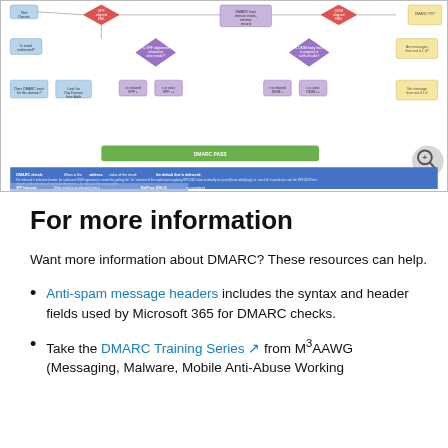[Figure (flowchart): DMARC email authentication flowchart showing SPF and DKIM alignment checks with decision diamonds, process boxes in blue, purple, red, yellow, and green, with a legend at the bottom explaining DMARC checks and SPF alignment]
For more information
Want more information about DMARC? These resources can help.
Anti-spam message headers includes the syntax and header fields used by Microsoft 365 for DMARC checks.
Take the DMARC Training Series from M³AAWG (Messaging, Malware, Mobile Anti-Abuse Working